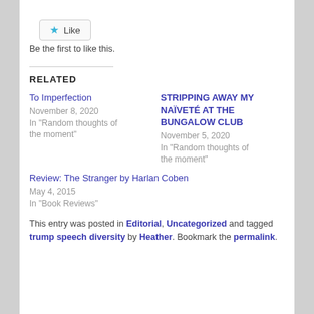[Figure (other): Like button widget with blue star icon and 'Like' text inside a bordered rounded rectangle]
Be the first to like this.
RELATED
To Imperfection
November 8, 2020
In "Random thoughts of the moment"
STRIPPING AWAY MY NAÏVETÉ AT THE BUNGALOW CLUB
November 5, 2020
In "Random thoughts of the moment"
Review: The Stranger by Harlan Coben
May 4, 2015
In "Book Reviews"
This entry was posted in Editorial, Uncategorized and tagged trump speech diversity by Heather. Bookmark the permalink.